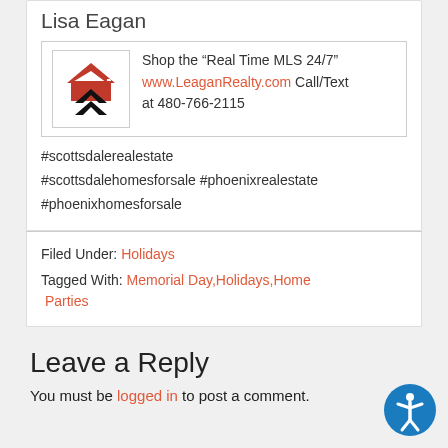Lisa Eagan
Shop the “Real Time MLS 24/7” www.LeaganRealty.com Call/Text at 480-766-2115
#scottsdalerealestate #scottsdalehomesforsale #phoenixrealestate #phoenixhomesforsale
Filed Under: Holidays
Tagged With: Memorial Day,Holidays,Home Parties
Leave a Reply
You must be logged in to post a comment.